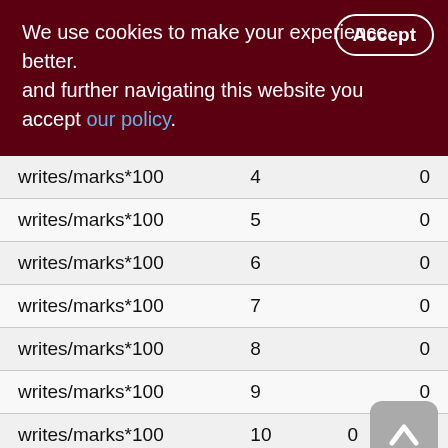We use cookies to make your experience better. By accepting and further navigating this website you accept our policy.
| writes/marks*100 | 4 | 0 |
| writes/marks*100 | 5 | 0 |
| writes/marks*100 | 6 | 0 |
| writes/marks*100 | 7 | 0 |
| writes/marks*100 | 8 | 0 |
| writes/marks*100 | 9 | 0 |
| writes/marks*100 | 10 | 0 |
Done for 10110 ms, from 11:36:11.38 to 11:36:21.49.